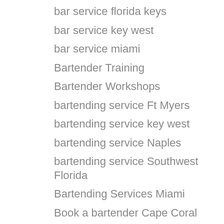bar service florida keys
bar service key west
bar service miami
Bartender Training
Bartender Workshops
bartending service Ft Myers
bartending service key west
bartending service Naples
bartending service Southwest Florida
Bartending Services Miami
Book a bartender Cape Coral
Book a bartender Florida Keys
Book a Bartender Ft Myers
Book a Bartender Miami
Book a bartender Naples